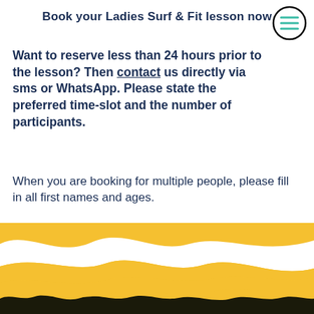Book your Ladies Surf & Fit lesson now
[Figure (illustration): Hamburger menu icon — three horizontal teal/green lines inside a black circle outline, top right corner]
Want to reserve less than 24 hours prior to the lesson? Then contact us directly via sms or WhatsApp. Please state the preferred time-slot and the number of participants.
When you are booking for multiple people, please fill in all first names and ages.
PLEASE NOTE: Ladies Surf & Fit is on Friday mornings from 9:00 – 11:00 only!
[Figure (illustration): Yellow/golden wavy decorative banner at the bottom of the page with white irregular wave shapes and dark silhouettes of people or foliage at the very bottom edge]